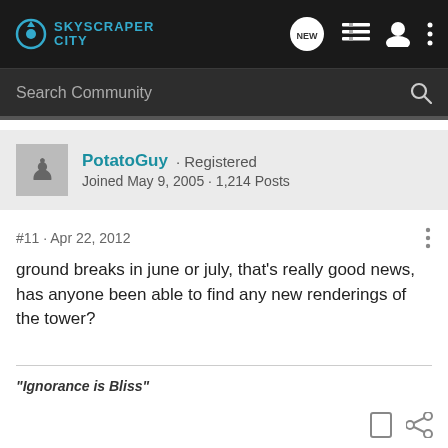SkyscraperCity
Search Community
PotatoGuy · Registered
Joined May 9, 2005 · 1,214 Posts
#11 · Apr 22, 2012
ground breaks in june or july, that's really good news, has anyone been able to find any new renderings of the tower?
"Ignorance is Bliss"